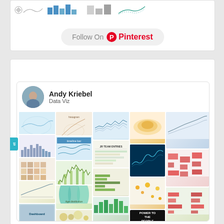[Figure (screenshot): Top section showing partial charts/graphs strip and a Pinterest follow button banner]
DATA VIZ FAVORITES
[Figure (screenshot): Pinterest board by Andy Kriebel titled Data Viz, showing a grid of data visualization thumbnails including maps, charts, infographics, and line charts]